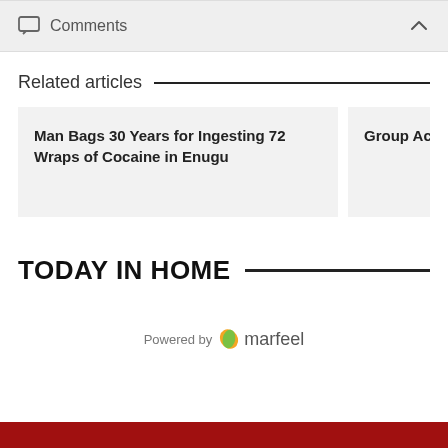Comments
Related articles
Man Bags 30 Years for Ingesting 72 Wraps of Cocaine in Enugu
Group Accuses performance
TODAY IN HOME
Powered by marfeel